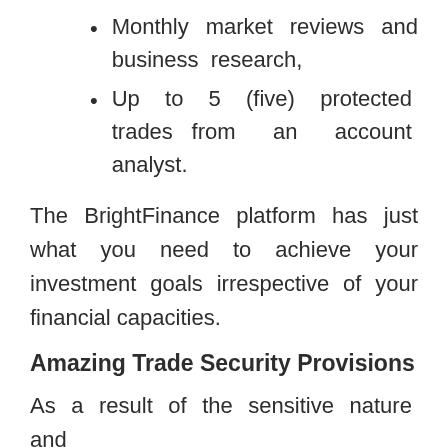Monthly market reviews and business research,
Up to 5 (five) protected trades from an account analyst.
The BrightFinance platform has just what you need to achieve your investment goals irrespective of your financial capacities.
Amazing Trade Security Provisions
As a result of the sensitive nature and